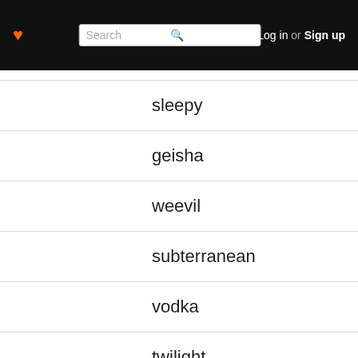❤ Search Log in or Sign up
sleepy
geisha
weevil
subterranean
vodka
twilight
vintage
antimacasser